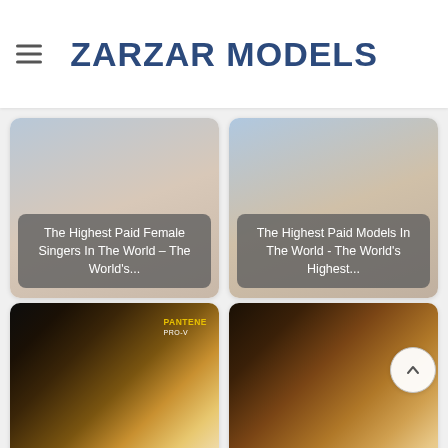ZARZAR MODELS
[Figure (screenshot): Card with partial image at top - The Highest Paid Female Singers In The World – The World's...]
The Highest Paid Female Singers In The World – The World's...
[Figure (screenshot): Card with partial image at top - The Highest Paid Models In The World - The World's Highest...]
The Highest Paid Models In The World - The World's Highest...
[Figure (photo): Pantene hair product advertisement showing woman with long curly hair and Pantene products]
The Highest Paid
[Figure (photo): Woman in glamorous outfit holding gift boxes, holiday/Christmas themed photo]
The Highest Paid